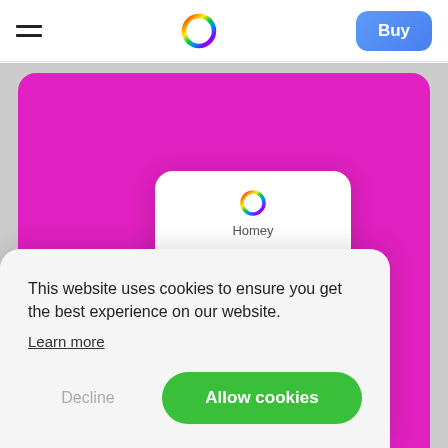[Figure (screenshot): Navigation bar with hamburger menu, rainbow ring logo, and blue Buy button]
[Figure (screenshot): Magenta/pink background area with a white app card showing Homey logo and label]
This website uses cookies to ensure you get the best experience on our website.
Learn more
Decline
Allow cookies